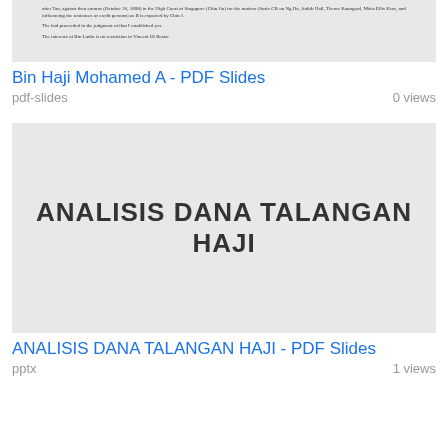[Figure (screenshot): Thumbnail preview of a PDF document page showing dense small text from a legal document about Bin Haji Mohamed A]
Bin Haji Mohamed A - PDF Slides
pdf-slides
0 views
[Figure (screenshot): Thumbnail preview of a presentation slide showing the text 'ANALISIS DANA TALANGAN HAJI' in large bold letters on a light gray background]
ANALISIS DANA TALANGAN HAJI - PDF Slides
pptx
1 views